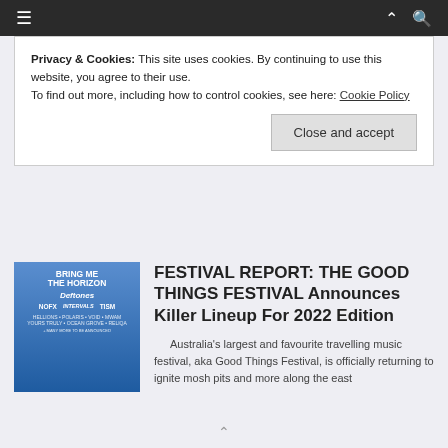≡ ∧ 🔍
Privacy & Cookies: This site uses cookies. By continuing to use this website, you agree to their use.
To find out more, including how to control cookies, see here: Cookie Policy
Close and accept
[Figure (photo): Festival poster for Good Things Festival featuring Bring Me The Horizon, Deftones, NOFX, TISM and other bands]
FESTIVAL REPORT: THE GOOD THINGS FESTIVAL Announces Killer Lineup For 2022 Edition
Australia's largest and favourite travelling music festival, aka Good Things Festival, is officially returning to ignite mosh pits and more along the east